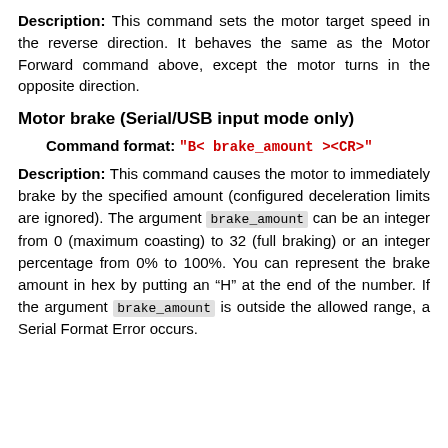Description: This command sets the motor target speed in the reverse direction. It behaves the same as the Motor Forward command above, except the motor turns in the opposite direction.
Motor brake (Serial/USB input mode only)
Command format: "B< brake_amount ><CR>"
Description: This command causes the motor to immediately brake by the specified amount (configured deceleration limits are ignored). The argument brake_amount can be an integer from 0 (maximum coasting) to 32 (full braking) or an integer percentage from 0% to 100%. You can represent the brake amount in hex by putting an “H” at the end of the number. If the argument brake_amount is outside the allowed range, a Serial Format Error occurs.